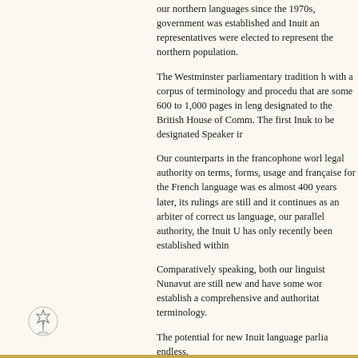our northern languages since the 1970s, government was established and Inuit and representatives were elected to represent the northern population.
The Westminster parliamentary tradition h with a corpus of terminology and procedu that are some 600 to 1,000 pages in lengt designated to the British House of Comm. The first Inuk to be designated Speaker ir
Our counterparts in the francophone worl legal authority on terms, forms, usage and française for the French language was es almost 400 years later, its rulings are still and it continues as an arbiter of correct us language, our parallel authority, the Inuit U has only recently been established within
Comparatively speaking, both our linguist Nunavut are still new and have some wor establish a comprehensive and authoritat terminology.
The potential for new Inuit language parlia endless.
[Figure (logo): Canadian government maple leaf logo/crest in outline style]